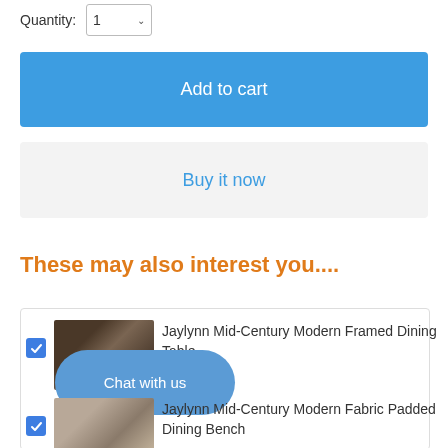Quantity: 1
Add to cart
Buy it now
These may also interest you....
Jaylynn Mid-Century Modern Framed Dining Table
Chat with us
Jaylynn Mid-Century Modern Fabric Padded Dining Bench